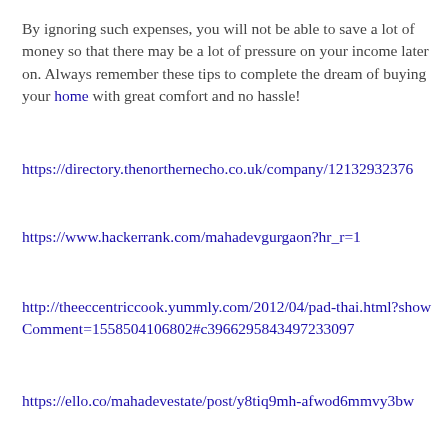By ignoring such expenses, you will not be able to save a lot of money so that there may be a lot of pressure on your income later on. Always remember these tips to complete the dream of buying your home with great comfort and no hassle!
https://directory.thenorthernecho.co.uk/company/12132932376
https://www.hackerrank.com/mahadevgurgaon?hr_r=1
http://theeccentriccook.yummly.com/2012/04/pad-thai.html?showComment=1558504106802#c3966295843497233097
https://ello.co/mahadevestate/post/y8tiq9mh-afwod6mmvy3bw